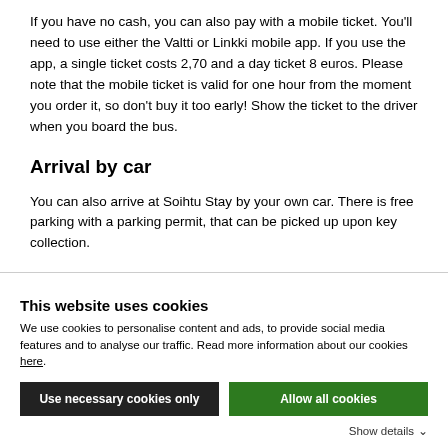If you have no cash, you can also pay with a mobile ticket. You'll need to use either the Valtti or Linkki mobile app. If you use the app, a single ticket costs 2,70 and a day ticket 8 euros. Please note that the mobile ticket is valid for one hour from the moment you order it, so don't buy it too early! Show the ticket to the driver when you board the bus.
Arrival by car
You can also arrive at Soihtu Stay by your own car. There is free parking with a parking permit, that can be picked up upon key collection.
This website uses cookies
We use cookies to personalise content and ads, to provide social media features and to analyse our traffic. Read more information about our cookies here.
Use necessary cookies only
Allow all cookies
Show details